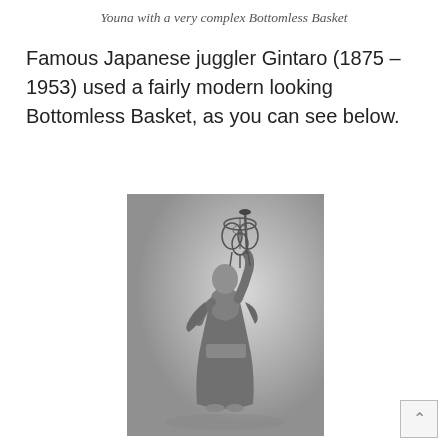Youna with a very complex Bottomless Basket
Famous Japanese juggler Gintaro (1875 – 1953) used a fairly modern looking Bottomless Basket, as you can see below.
[Figure (photo): Black and white photograph of a Japanese performer in traditional robes balancing a complex ornamental basket apparatus on one finger, looking upward at the object.]